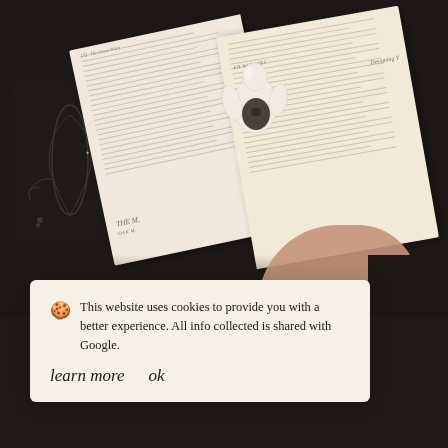[Figure (photo): Photograph of an open book with a white ceramic figurine (torso/body shape with dark floral motif) resting on the pages, placed on a dark floral fabric. An open hand is visible at the bottom right corner.]
This website uses cookies to provide you with a better experience. All info collected is shared with Google.
learn more   ok